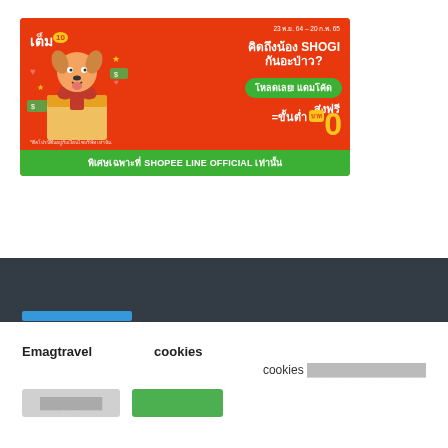[Figure (illustration): Shopee LINE OFFICIAL promotional banner with orange/red background. Thai text: เต็ม 10, คิดถึงน้อง SHOGI กันอะป่าว?, โหลดเลย! แดมโค้ด, ส่งฟรี ขั้นต่ำ 0 บาท. Date: 23 พ.ย. 64 – 20 ก.พ. 65. Green footer: พิเศษเฉพาะที่ SHOPEE LINE OFFICIAL เท่านั้น]
[Figure (screenshot): Dark gray website footer section with a blue button/bar element]
Emagtravel        cookies
cookies ██████████████
████████    ███████